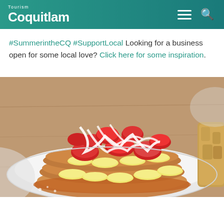Tourism Coquitlam
#SummerintheCQ #SupportLocal Looking for a business open for some local love? Click here for some inspiration.
[Figure (photo): Close-up photo of a stack of pancakes topped with sliced strawberries, banana slices, and drizzled with white cream sauce, served on a white plate with a side of roasted potatoes visible in the background.]